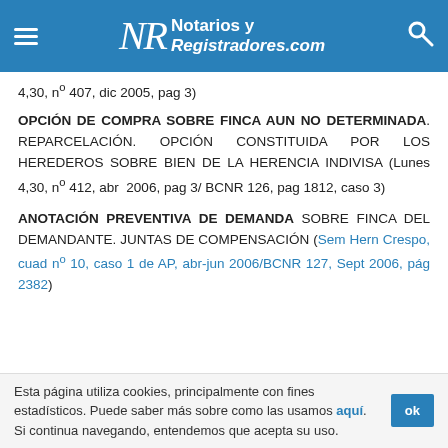Notarios y Registradores.com
4,30, nº 407, dic 2005, pag 3)
OPCIÓN DE COMPRA SOBRE FINCA AUN NO DETERMINADA. REPARCELACIÓN. OPCIÓN CONSTITUIDA POR LOS HEREDEROS SOBRE BIEN DE LA HERENCIA INDIVISA (Lunes 4,30, nº 412, abr 2006, pag 3/ BCNR 126, pag 1812, caso 3)
ANOTACIÓN PREVENTIVA DE DEMANDA SOBRE FINCA DEL DEMANDANTE. JUNTAS DE COMPENSACIÓN (Sem Hern Crespo, cuad nº 10, caso 1 de AP, abr-jun 2006/BCNR 127, Sept 2006, pág 2382)
Esta página utiliza cookies, principalmente con fines estadísticos. Puede saber más sobre como las usamos aquí. Si continua navegando, entendemos que acepta su uso.